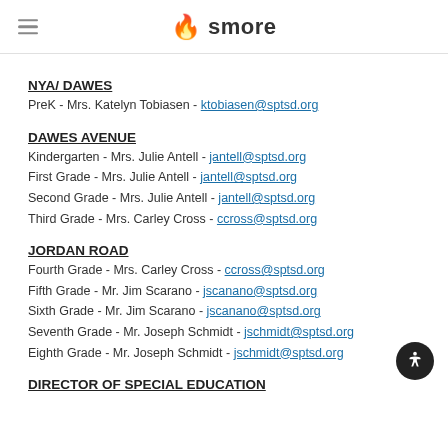smore
NYA/ DAWES
PreK - Mrs. Katelyn Tobiasen - ktobiasen@sptsd.org
DAWES AVENUE
Kindergarten - Mrs. Julie Antell - jantell@sptsd.org
First Grade - Mrs. Julie Antell - jantell@sptsd.org
Second Grade - Mrs. Julie Antell - jantell@sptsd.org
Third Grade - Mrs. Carley Cross - ccross@sptsd.org
JORDAN ROAD
Fourth Grade - Mrs. Carley Cross - ccross@sptsd.org
Fifth Grade - Mr. Jim Scarano - jscanano@sptsd.org
Sixth Grade - Mr. Jim Scarano - jscanano@sptsd.org
Seventh Grade - Mr. Joseph Schmidt - jschmidt@sptsd.org
Eighth Grade - Mr. Joseph Schmidt - jschmidt@sptsd.org
DIRECTOR OF SPECIAL EDUCATION